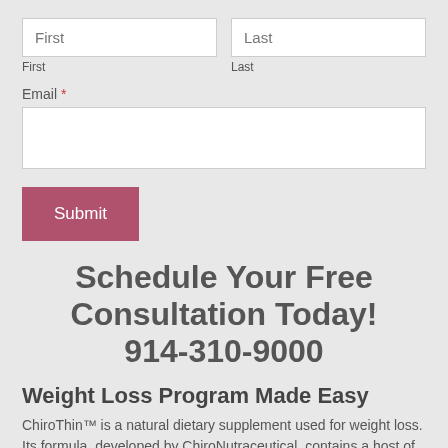[Figure (screenshot): Web form with First and Last name input fields side by side]
First
Last
Email *
[Figure (screenshot): Submit button in dark pink/mauve color]
Schedule Your Free Consultation Today! 914-310-9000
Weight Loss Program Made Easy
ChiroThin™ is a natural dietary supplement used for weight loss. Its formula, developed by ChiroNutraceutical, contains a host of nutritional ingredients that are well known to aid in fatty acid transportation, fatty acid metabolism, blood sugar stabilization,